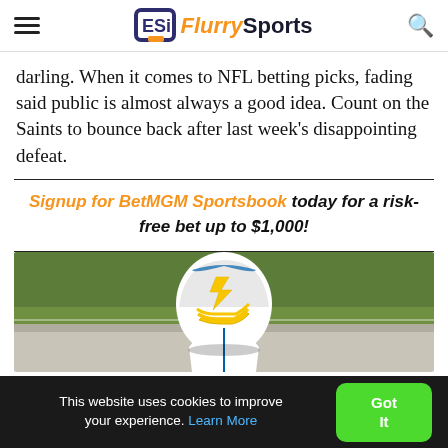Flurry Sports
darling. When it comes to NFL betting picks, fading said public is almost always a good idea. Count on the Saints to bounce back after last week's disappointing defeat.
Signup for BetMGM Sportsbook today for a risk-free bet up to $1,000!
[Figure (photo): LA Chargers football player wearing white and blue helmet with lightning bolt logo, bending down on a green field]
This website uses cookies to improve your experience. Learn More